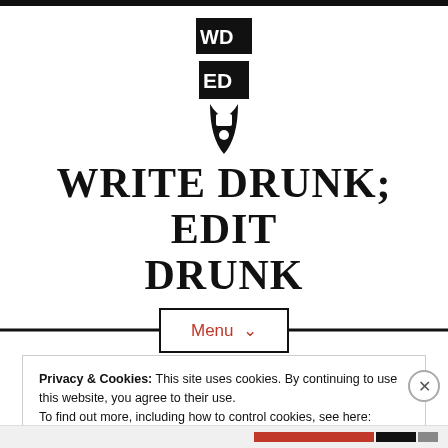[Figure (logo): WD/ED stylized logo in black, stacked letters with shield-like shape and quotation mark at bottom]
WRITE DRUNK; EDIT DRUNK
Menu ∨
Privacy & Cookies: This site uses cookies. By continuing to use this website, you agree to their use.
To find out more, including how to control cookies, see here: Cookie Policy
Close and accept